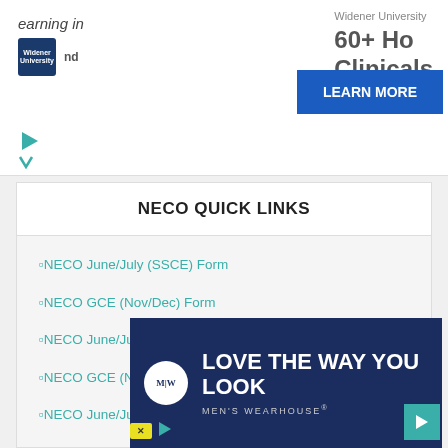[Figure (screenshot): Top advertisement banner showing Widener University ad with text 'earning in', Widener University logo, '60+ Ho...' and 'Clinicals', and a blue 'LEARN MORE' button]
NECO QUICK LINKS
▫NECO June/July (SSCE) Form
▫NECO GCE (Nov/Dec) Form
▫NECO June/July Timetable
▫NECO GCE (Nov/Dec) Timetable
▫NECO June/July Result
▫NECO...
▫NECO...
▫NECO...
[Figure (screenshot): Men's Wearhouse advertisement overlay with navy background, MW logo circle, text 'LOVE THE WAY YOU LOOK' and 'MEN'S WEARHOUSE']